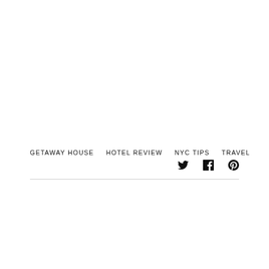GETAWAY HOUSE   HOTEL REVIEW   NYC TIPS   TRAVEL
[Figure (other): Social media icons: Twitter (bird), Facebook (f), Pinterest (P)]